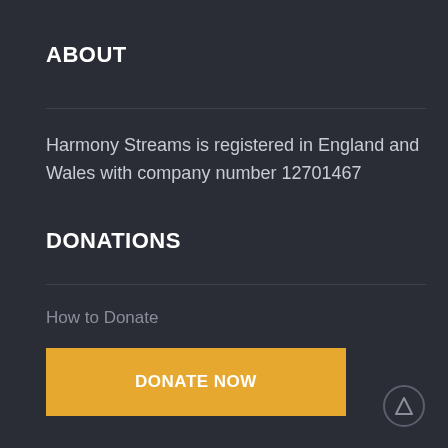ABOUT
Harmony Streams is registered in England and Wales with company number 12701467
DONATIONS
How to Donate
DONATE NOW